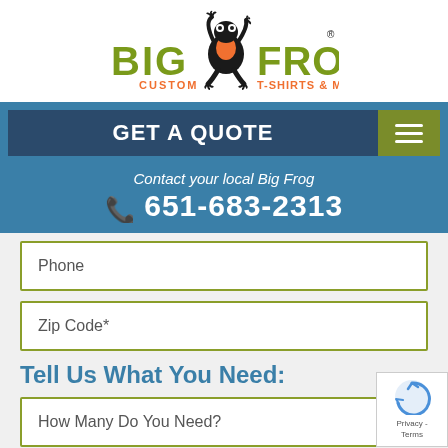[Figure (logo): Big Frog Custom T-Shirts & More logo with frog mascot in black and orange, green text]
GET A QUOTE
Contact your local Big Frog
(📞)651-683-2313
Phone
Zip Code*
Tell Us What You Need:
How Many Do You Need?